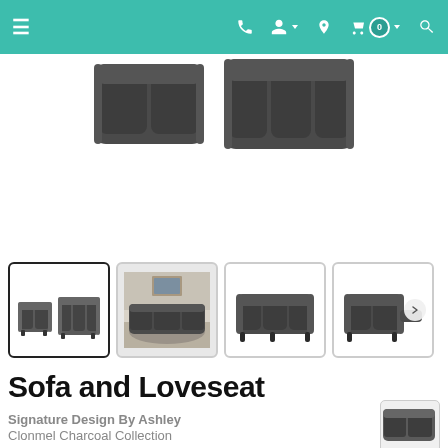Navigation bar with menu, phone, account, location, cart (0), search icons
[Figure (photo): Partial top view of a dark charcoal reclining sofa/loveseat set against white background]
[Figure (photo): Thumbnail 1 (active/selected): Charcoal sofa and loveseat set on white background]
[Figure (photo): Thumbnail 2: Charcoal sofa and loveseat set in room setting]
[Figure (photo): Thumbnail 3: Close-up side view of charcoal reclining sofa]
[Figure (photo): Thumbnail 4: Close-up side view of charcoal reclining loveseat with next arrow]
Sofa and Loveseat
Signature Design By Ashley
Clonmel Charcoal Collection